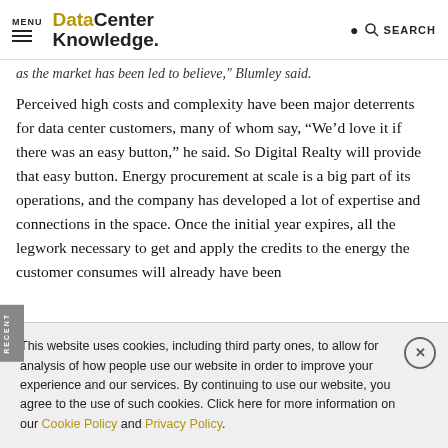MENU | Data Center Knowledge. SEARCH
as the market has been led to believe," Blumley said.
Perceived high costs and complexity have been major deterrents for data center customers, many of whom say, “We’d love it if there was an easy button,” he said. So Digital Realty will provide that easy button. Energy procurement at scale is a big part of its operations, and the company has developed a lot of expertise and connections in the space. Once the initial year expires, all the legwork necessary to get and apply the credits to the energy the customer consumes will already have been
This website uses cookies, including third party ones, to allow for analysis of how people use our website in order to improve your experience and our services. By continuing to use our website, you agree to the use of such cookies. Click here for more information on our Cookie Policy and Privacy Policy.